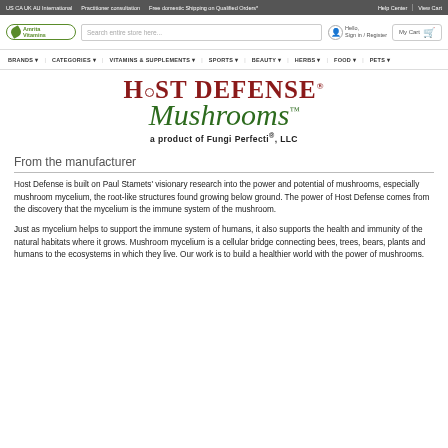US CA UK AU International   Practitioner consultation   Free domestic Shipping on Qualified Orders*   Help Center   View Cart
[Figure (logo): AmeritaVitamins logo with green leaf icon and oval border]
[Figure (logo): Host Defense Mushrooms logo — HOST DEFENSE in dark red serif, Mushrooms in green script, subtitle: a product of Fungi Perfecti®, LLC]
BRANDS  CATEGORIES  VITAMINS & SUPPLEMENTS  SPORTS  BEAUTY  HERBS  FOOD  PETS
From the manufacturer
Host Defense is built on Paul Stamets' visionary research into the power and potential of mushrooms, especially mushroom mycelium, the root-like structures found growing below ground. The power of Host Defense comes from the discovery that the mycelium is the immune system of the mushroom.
Just as mycelium helps to support the immune system of humans, it also supports the health and immunity of the natural habitats where it grows. Mushroom mycelium is a cellular bridge connecting bees, trees, bears, plants and humans to the ecosystems in which they live. Our work is to build a healthier world with the power of mushrooms.